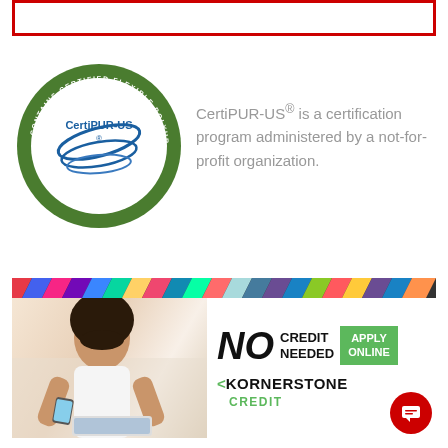[Figure (other): Red-bordered empty box at the top of the page]
[Figure (logo): CertiPUR-US circular green certification logo with text 'Contains Certified Flexible Polyurethane Foam' around the border and www.certipur-us.com at bottom]
CertiPUR-US® is a certification program administered by a not-for-profit organization.
[Figure (infographic): Kornerstone Credit advertisement banner with colorful zigzag top border, photo of a young woman using phone and laptop, text 'NO CREDIT NEEDED' with 'APPLY ONLINE' green button, and Kornerstone Credit logo]